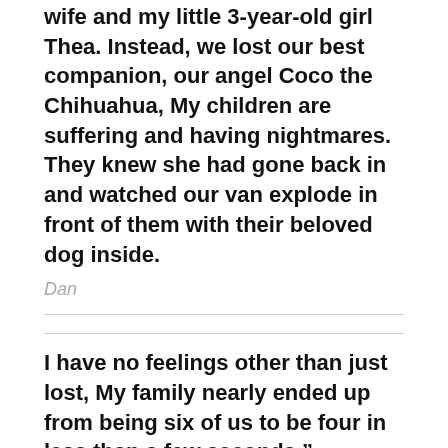wife and my little 3-year-old girl Thea. Instead, we lost our best companion, our angel Coco the Chihuahua, My children are suffering and having nightmares. They knew she had gone back in and watched our van explode in front of them with their beloved dog inside.
Dan
I have no feelings other than just lost, My family nearly ended up from being six of us to be four in less than a few seconds."
D